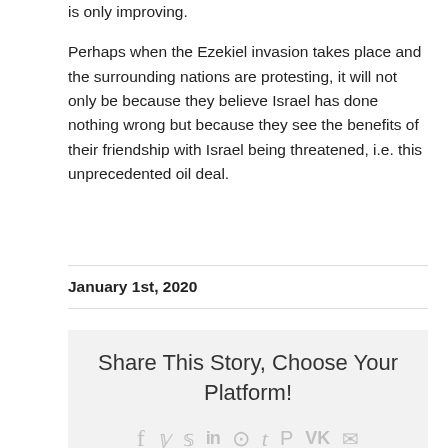is only improving.
Perhaps when the Ezekiel invasion takes place and the surrounding nations are protesting, it will not only be because they believe Israel has done nothing wrong but because they see the benefits of their friendship with Israel being threatened, i.e. this unprecedented oil deal.
January 1st, 2020
Share This Story, Choose Your Platform!